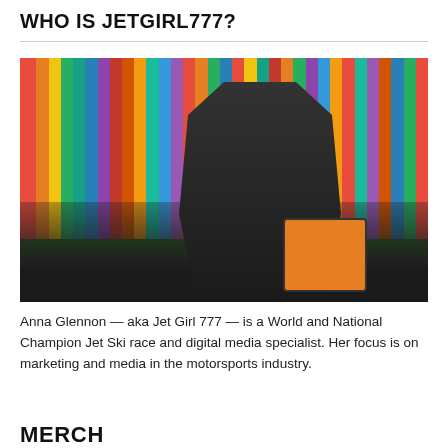WHO IS JETGIRL777?
[Figure (photo): A woman in a black leather jacket, gray graphic tee, and black pants stands in front of a colorful vertical striped wall. She is holding an orange and black decorative item. The ground is a gray pavement with a green hedge behind her.]
Anna Glennon — aka Jet Girl 777 — is a World and National Champion Jet Ski race and digital media specialist. Her focus is on marketing and media in the motorsports industry.
MERCH